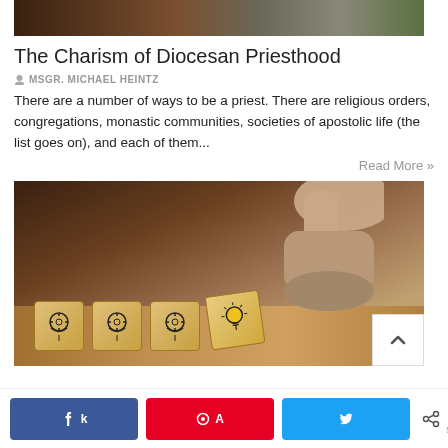[Figure (photo): Top portion of an article image, dark background with partial view of indoor scene]
The Charism of Diocesan Priesthood
MSGR. MICHAEL HEINTZ
There are a number of ways to be a priest. There are religious orders, congregations, monastic communities, societies of apostolic life (the list goes on), and each of them...
Read More »
[Figure (photo): A hand placing a wooden block with a lightbulb icon (idea) next to three wooden blocks with gear-head icons, symbolizing ideas and thinking]
0 SHARES — social share bar with Facebook, Pinterest, and Twitter buttons